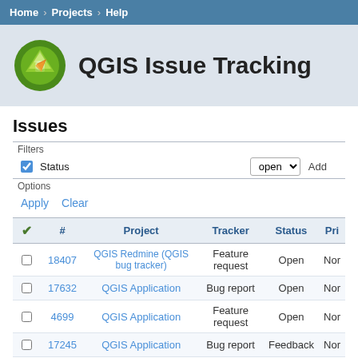Home / Projects / Help
QGIS Issue Tracking
Issues
Filters
Status  open  Add
Options
Apply  Clear
| ✓ | # | Project | Tracker | Status | Pri |
| --- | --- | --- | --- | --- | --- |
| □ | 18407 | QGIS Redmine (QGIS bug tracker) | Feature request | Open | Nor |
| □ | 17632 | QGIS Application | Bug report | Open | Nor |
| □ | 4699 | QGIS Application | Feature request | Open | Nor |
| □ | 17245 | QGIS Application | Bug report | Feedback | Nor |
| □ | 17980 | QGIS Application | Bug report | Open | Lo |